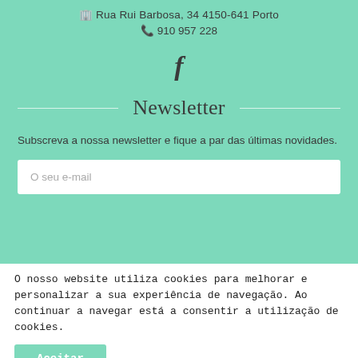🏢 Rua Rui Barbosa, 34 4150-641 Porto
📞 910 957 228
[Figure (illustration): Facebook logo letter f icon]
Newsletter
Subscreva a nossa newsletter e fique a par das últimas novidades.
O seu e-mail
O nosso website utiliza cookies para melhorar e personalizar a sua experiência de navegação. Ao continuar a navegar está a consentir a utilização de cookies.
Aceitar